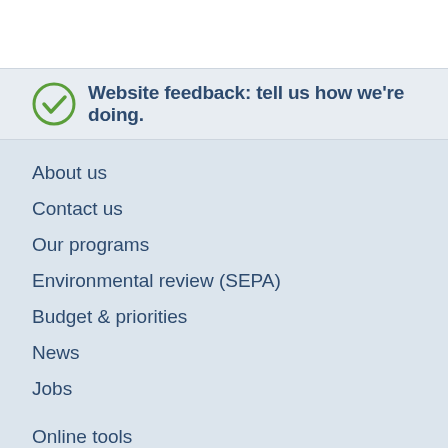Website feedback: tell us how we're doing.
About us
Contact us
Our programs
Environmental review (SEPA)
Budget & priorities
News
Jobs
Online tools